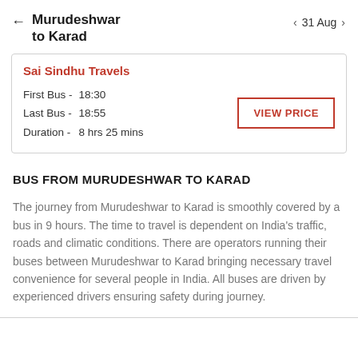Murudeshwar to Karad  ← | < 31 Aug >
| Sai Sindhu Travels |
| First Bus - | 18:30 |
| Last Bus - | 18:55 |
| Duration - | 8 hrs 25 mins |
BUS FROM MURUDESHWAR TO KARAD
The journey from Murudeshwar to Karad is smoothly covered by a bus in 9 hours. The time to travel is dependent on India's traffic, roads and climatic conditions. There are operators running their buses between Murudeshwar to Karad bringing necessary travel convenience for several people in India. All buses are driven by experienced drivers ensuring safety during journey.